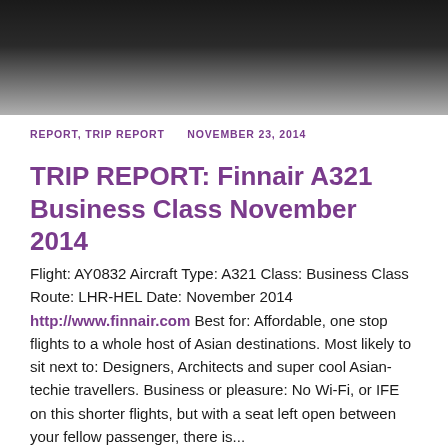[Figure (photo): Top portion of a photograph showing dark fabric or clothing against a light grey background, partially cropped]
REPORT, TRIP REPORT    NOVEMBER 23, 2014
TRIP REPORT: Finnair A321 Business Class November 2014
Flight: AY0832 Aircraft Type: A321 Class: Business Class Route: LHR-HEL Date: November 2014 http://www.finnair.com Best for: Affordable, one stop flights to a whole host of Asian destinations. Most likely to sit next to: Designers, Architects and super cool Asian-techie travellers. Business or pleasure: No Wi-Fi, or IFE on this shorter flights, but with a seat left open between your fellow passenger, there is...